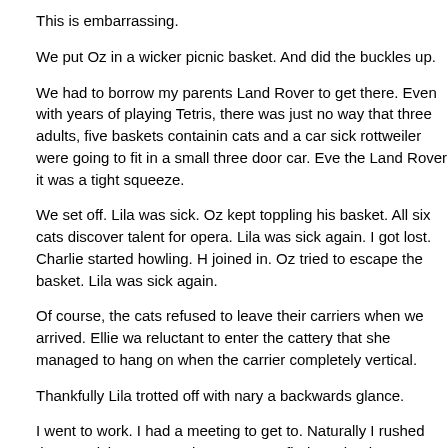This is embarrassing.
We put Oz in a wicker picnic basket.  And did the buckles up.
We had to borrow my parents Land Rover to get there.  Even with years of playing Tetris, there was just no way that three adults, five baskets containing cats and a car sick rottweiler were going to fit in a small three door car.  Even the Land Rover it was a tight squeeze.
We set off.  Lila was sick.  Oz kept toppling his basket.  All six cats discovered talent for opera.  Lila was sick again.  I got lost.  Charlie started howling.  He joined in.  Oz tried to escape the basket.  Lila was sick again.
Of course, the cats refused to leave their carriers when we arrived.  Ellie was reluctant to enter the cattery that she managed to hang on when the carrier was completely vertical.
Thankfully Lila trotted off with nary a backwards glance.
I went to work.  I had a meeting to get to.  Naturally I rushed there, arriving with seconds to spare, to find out that he was running late and only had a few minutes to spare.
My meeting, for which I had spent an hour on the train, lasted seven and a half minutes.  I'm so glad that I bothered to show up.
So I sat down, and enjoyed the three hours I had to kill before my next meeting.